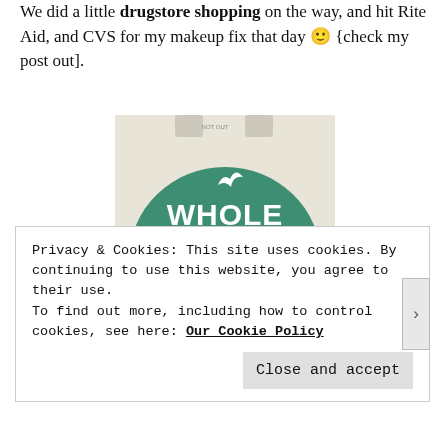We did a little drugstore shopping on the way, and hit Rite Aid, and CVS for my makeup fix that day 🙂 {check my post out].
[Figure (photo): Photo of a Whole Foods Market reusable shopping bag with green circle logo showing 'WHOLE FOODS MARKET' text on a white/cream background]
Privacy & Cookies: This site uses cookies. By continuing to use this website, you agree to their use.
To find out more, including how to control cookies, see here: Our Cookie Policy